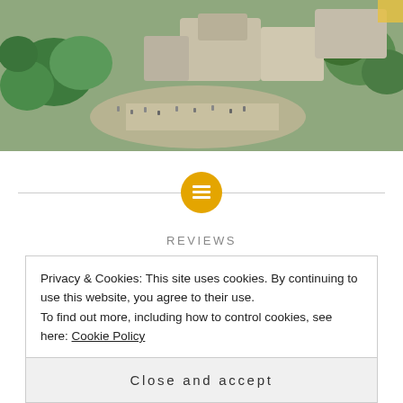[Figure (photo): Aerial view of a theme park area with trees, stone buildings, and visitors walking around pathways]
[Figure (other): Yellow circle icon with a grid/table symbol, centered on a horizontal divider line]
REVIEWS
Everything Coming to Disney Parks in...
Privacy & Cookies: This site uses cookies. By continuing to use this website, you agree to their use.
To find out more, including how to control cookies, see here: Cookie Policy
Close and accept